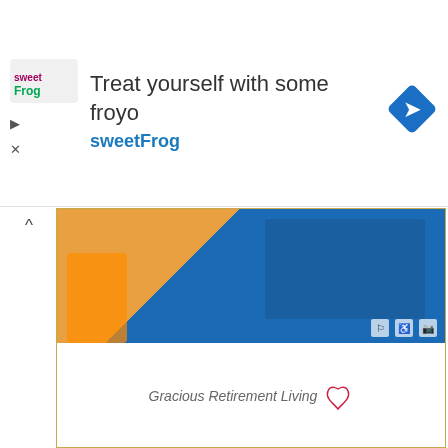[Figure (screenshot): SweetFrog frozen yogurt advertisement banner with logo, text 'Treat yourself with some froyo' and 'sweetFrog', and a blue navigation diamond icon on the right.]
[Figure (screenshot): Left sidebar advertisement for Gracious Retirement Living showing a photo of a person in blue with paperwork, and the Gracious Retirement Living logo with heart icon at the bottom.]
[Figure (screenshot): Right panel showing teal background with large bold text 'IMPROVE' (in dark teal) and 'ENGLISH' (in white), partially cropped, with a book in the bottom right corner.]
Comments
Quiz
39 people like this. Sign Up to see